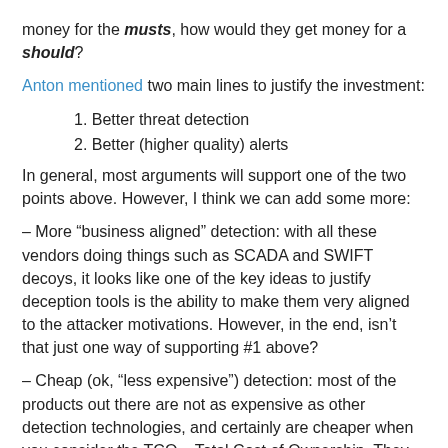money for the musts, how would they get money for a should?
Anton mentioned two main lines to justify the investment:
1. Better threat detection
2. Better (higher quality) alerts
In general, most arguments will support one of the two points above. However, I think we can add some more:
– More “business aligned” detection: with all these vendors doing things such as SCADA and SWIFT decoys, it looks like one of the key ideas to justify deception tools is the ability to make them very aligned to the attacker motivations. However, in the end, isn’t that just one way of supporting #1 above?
– Cheap (ok, “less expensive”) detection: most of the products out there are not as expensive as other detection technologies, and certainly are cheaper when you consider the TCO – Total Cost of Ownership. They usually cost less from a pure product price point of view and also require less